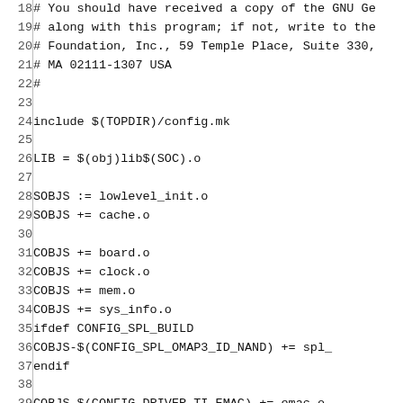Source code listing (Makefile), lines 18-47:
18: # You should have received a copy of the GNU Ge
19: # along with this program; if not, write to the
20: # Foundation, Inc., 59 Temple Place, Suite 330,
21: # MA 02111-1307 USA
22: #
23: (empty)
24: include $(TOPDIR)/config.mk
25: (empty)
26: LIB      = $(obj)lib$(SOC).o
27: (empty)
28: SOBJS   := lowlevel_init.o
29: SOBJS   += cache.o
30: (empty)
31: COBJS   += board.o
32: COBJS   += clock.o
33: COBJS   += mem.o
34: COBJS   += sys_info.o
35: ifdef CONFIG_SPL_BUILD
36: COBJS-$(CONFIG_SPL_OMAP3_ID_NAND)        += spl_
37: endif
38: (empty)
39: COBJS-$(CONFIG_DRIVER_TI_EMAC)  += emac.o
40: COBJS-$(CONFIG_EMIF4)    += emif4.o
41: COBJS-$(CONFIG_SDRC)     += sdrc.o
42: (empty)
43: SRCS     := $(SOBJS:.o=.S) $(COBJS:.o=.c)
44: OBJS     := $(addprefix $(obj),$(COBJS) $(COBJS-
45: (empty)
46: all:      $(obj).depend $(LIB)
47: (empty)